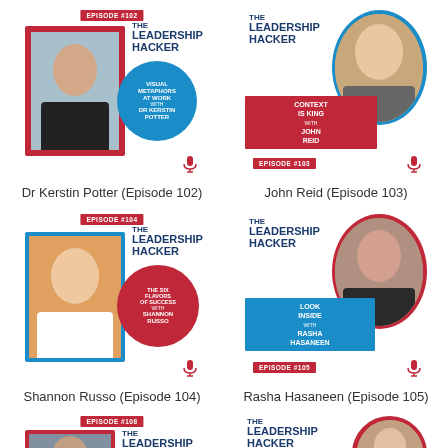[Figure (illustration): The Leadership Hacker podcast cover art for Episode #102 featuring Dr Kerstin Potter, titled 'Visual Metaphors at Work']
Dr Kerstin Potter (Episode 102)
[Figure (illustration): The Leadership Hacker podcast cover art for Episode #103 featuring John Reid, titled 'Context is King']
John Reid (Episode 103)
[Figure (illustration): The Leadership Hacker podcast cover art for Episode #104 featuring Shannon Russo, titled 'The Six Flavors of Success']
Shannon Russo (Episode 104)
[Figure (illustration): The Leadership Hacker podcast cover art for Episode #105 featuring Rasha Hasaneen, titled 'Look Inside']
Rasha Hasaneen (Episode 105)
[Figure (illustration): The Leadership Hacker podcast cover art for Episode #108 (partial, bottom of page)]
[Figure (illustration): The Leadership Hacker podcast cover art (partial, bottom of page, second column)]